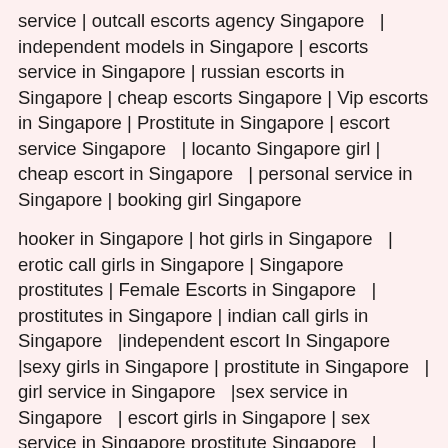service | outcall escorts agency Singapore | independent models in Singapore | escorts service in Singapore | russian escorts in Singapore | cheap escorts Singapore | Vip escorts in Singapore | Prostitute in Singapore | escort service Singapore  | locanto Singapore girl | cheap escort in Singapore  | personal service in Singapore | booking girl Singapore
hooker in Singapore | hot girls in Singapore  | erotic call girls in Singapore | Singapore prostitutes | Female Escorts in Singapore  | prostitutes in Singapore | indian call girls in Singapore  |independent escort In Singapore |sexy girls in Singapore | prostitute in Singapore  | girl service in Singapore  |sex service in Singapore  | escort girls in Singapore | sex service in Singapore prostitute Singapore  | escort girls in Singapore | independent escort in Singapore | escort service in Singapore  | escort girls Singapore | Singapore girl service | Singapore girl service | Singapore escort service  | escort service Singapore | best escort in Singapore  | girls in Singapore |